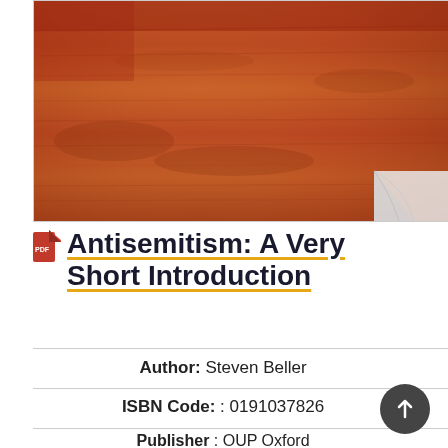[Figure (photo): Book cover photo showing a wooden surface texture in warm brown and red tones, with a white page curl visible at the bottom right corner.]
Antisemitism: A Very Short Introduction
Author: Steven Beller
ISBN Code: : 0191037826
Publisher : OUP Oxford